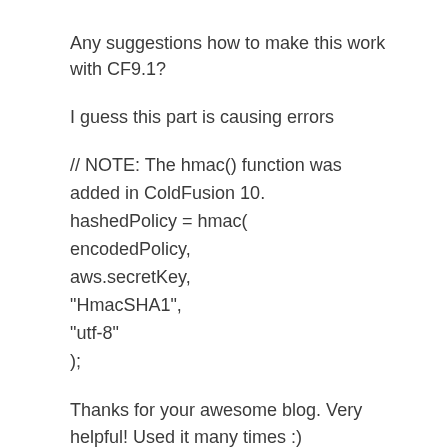Any suggestions how to make this work with CF9.1?
I guess this part is causing errors
// NOTE: The hmac() function was added in ColdFusion 10.
hashedPolicy = hmac(
encodedPolicy,
aws.secretKey,
"HmacSHA1",
"utf-8"
);
Thanks for your awesome blog. Very helpful! Used it many times :)